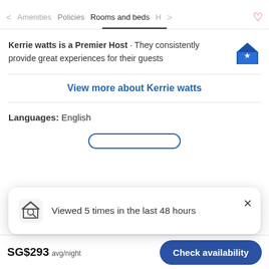< Amenities  Policies  Rooms and beds  H>  ♡
Kerrie watts is a Premier Host · They consistently provide great experiences for their guests
View more about Kerrie watts
Languages: English
Viewed 5 times in the last 48 hours
SG$293 avg/night   Check availability